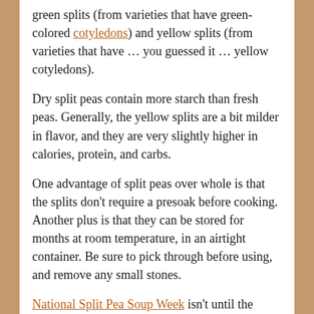green splits (from varieties that have green-colored cotyledons) and yellow splits (from varieties that have ... you guessed it ... yellow cotyledons).
Dry split peas contain more starch than fresh peas. Generally, the yellow splits are a bit milder in flavor, and they are very slightly higher in calories, protein, and carbs.
One advantage of split peas over whole is that the splits don't require a presoak before cooking. Another plus is that they can be stored for months at room temperature, in an airtight container. Be sure to pick through before using, and remove any small stones.
National Split Pea Soup Week isn't until the second week in November (I didn't even know there's a whole week for celebrating split pea soups!), but I'm